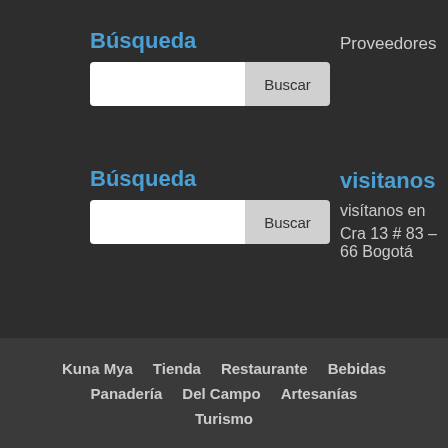Búsqueda
Proveedores
[Figure (screenshot): Search input bar with white text field and grey Buscar button]
Búsqueda
visitanos
[Figure (screenshot): Search input bar with white text field and grey Buscar button]
visítanos en
Cra 13 # 83 – 66 Bogotá
Kuna Mya   Tienda   Restaurante   Bebidas   Panadería   Del Campo   Artesanías   Turismo